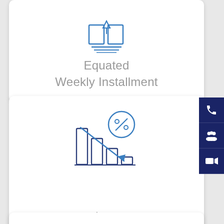[Figure (illustration): Icon of equated weekly installment — stylized document/calendar icon in blue outline at top of card]
Equated
Weekly Installment
[Figure (illustration): Icon of low interest rate — bar chart with descending arrow and percentage sign in a circle, in blue outline]
Low
Interest Rate
[Figure (illustration): Side navigation buttons: phone icon, group/people icon, video camera icon — all white on dark navy background]